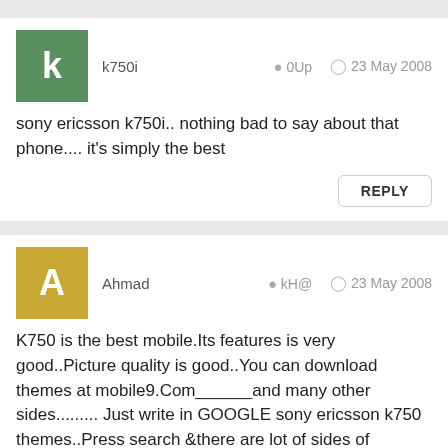k750i  0Up  23 May 2008
sony ericsson k750i.. nothing bad to say about that phone.... it's simply the best
REPLY
Ahmad  kH@  23 May 2008
K750 is the best mobile.Its features is very good..Picture quality is good..You can download themes at mobile9.Com______and many other sides......... Just write in GOOGLE sony ericsson k750 themes..Press search &there are lot of sides of themes.Enjoy
REPLY